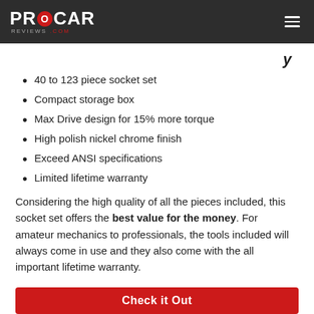PROCAR REVIEWS.COM
40 to 123 piece socket set
Compact storage box
Max Drive design for 15% more torque
High polish nickel chrome finish
Exceed ANSI specifications
Limited lifetime warranty
Considering the high quality of all the pieces included, this socket set offers the best value for the money. For amateur mechanics to professionals, the tools included will always come in use and they also come with the all important lifetime warranty.